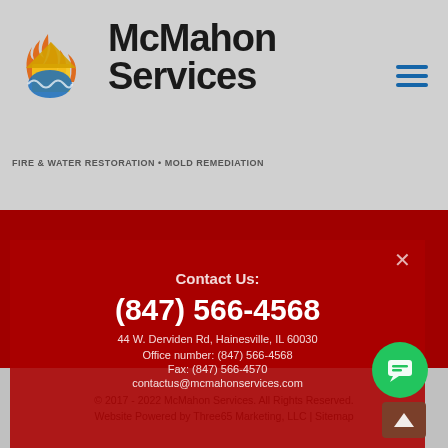[Figure (logo): McMahon Services logo with flame/house/water icon and text 'McMahon Services']
FIRE & WATER RESTORATION • MOLD REMEDIATION
IS THIS AN EMERGENCY?
Please Call (847) 566-4568 for immediate help!
24 Hour Emergency Restoration Services
Contact Us:
(847) 566-4568
44 W. Derviden Rd, Hainesville, IL 60030
Office number: (847) 566-4568
Fax: (847) 566-4570
contactus@mcmahonservices.com
© 2017 - 2022 McMahon Services. All Rights Reserved.
Website Powered by Three65 Marketing, LLC | Sitemap